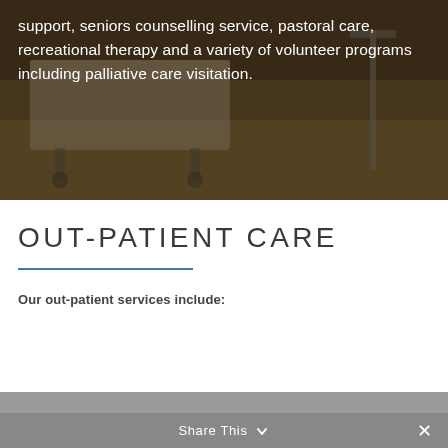[Figure (photo): Photograph of a hospital room with a medical bed and equipment, overlaid with dark semi-transparent tint]
support, seniors counselling service, pastoral care, recreational therapy and a variety of volunteer programs including palliative care visitation.
OUT-PATIENT CARE
Our out-patient services include:
Emergency Room Care
Diagnostic Imaging